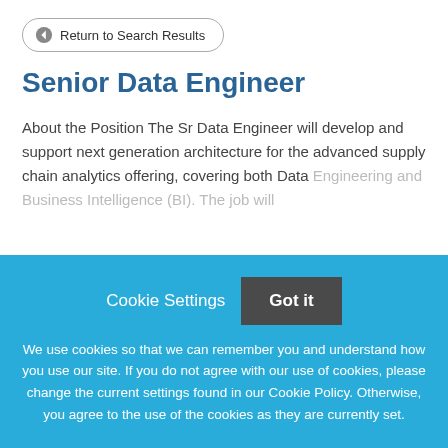[Figure (screenshot): Back button with left arrow icon and text 'Return to Search Results' inside a rounded-corner bordered button]
Senior Data Engineer
About the Position The Sr Data Engineer will develop and support next generation architecture for the advanced supply chain analytics offering, covering both Data Engineering and Business Intelligence (BI). The job will
Cookie Settings   Got it
We use cookies so that we can remember you and understand how you use our site. If you do not agree with our use of cookies, please change the current settings found in our Cookie Policy. Otherwise, you agree to the use of the cookies as they are currently set.